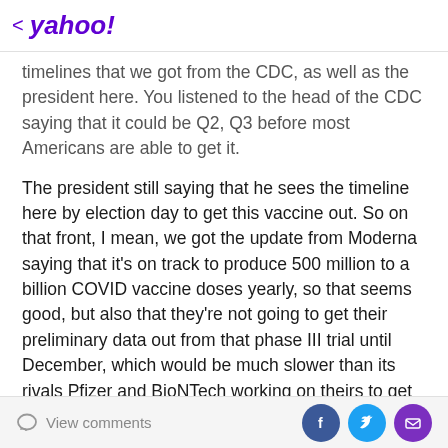< yahoo!
timelines that we got from the CDC, as well as the president here. You listened to the head of the CDC saying that it could be Q2, Q3 before most Americans are able to get it.
The president still saying that he sees the timeline here by election day to get this vaccine out. So on that front, I mean, we got the update from Moderna saying that it's on track to produce 500 million to a billion COVID vaccine doses yearly, so that seems good, but also that they're not going to get their preliminary data out from that phase III trial until December, which would be much slower than its rivals Pfizer and BioNTech working on theirs to get their data out by October. So I mean, when
View comments